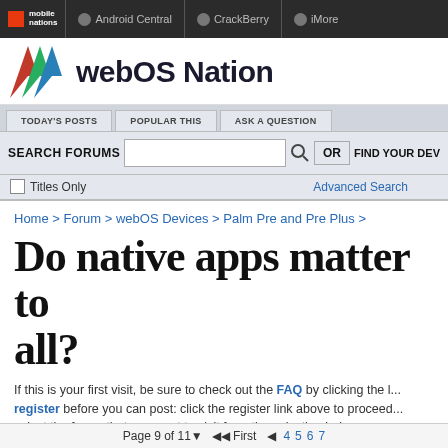mobile nations | Android Central | CrackBerry | iMore
[Figure (logo): webOS Nation logo with colorful W icon]
TODAY'S POSTS | POPULAR THIS | ASK A QUESTION
SEARCH FORUMS | OR | FIND YOUR DEV
Titles Only | Advanced Search
Home > Forum > webOS Devices > Palm Pre and Pre Plus >
Do native apps matter to all?
If this is your first visit, be sure to check out the FAQ by clicking the l... register before you can post: click the register link above to proceed... select the forum that you want to visit from the selection below.
Page 9 of 11 | First | 4 5 6 7